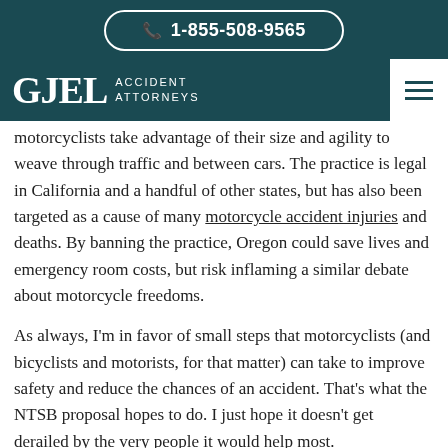📞 1-855-508-9565
GJEL ACCIDENT ATTORNEYS
motorcyclists take advantage of their size and agility to weave through traffic and between cars. The practice is legal in California and a handful of other states, but has also been targeted as a cause of many motorcycle accident injuries and deaths. By banning the practice, Oregon could save lives and emergency room costs, but risk inflaming a similar debate about motorcycle freedoms.
As always, I'm in favor of small steps that motorcyclists (and bicyclists and motorists, for that matter) can take to improve safety and reduce the chances of an accident. That's what the NTSB proposal hopes to do. I just hope it doesn't get derailed by the very people it would help most.